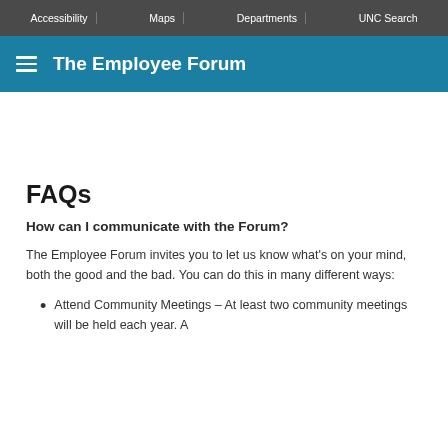Accessibility | Maps | Departments | UNC Search
The Employee Forum
FAQs
How can I communicate with the Forum?
The Employee Forum invites you to let us know what's on your mind, both the good and the bad. You can do this in many different ways:
Attend Community Meetings – At least two community meetings will be held each year. A